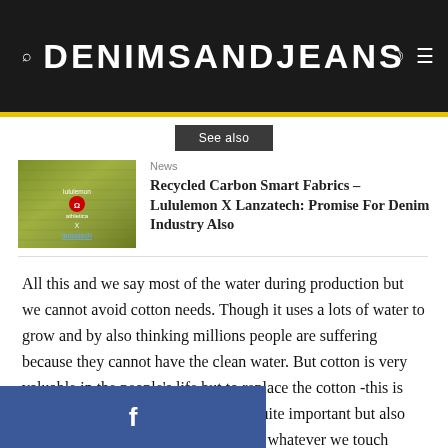DENIMSANDJEANS
See also
News
Recycled Carbon Smart Fabrics – Lululemon X Lanzatech: Promise For Denim Industry Also
All this and we say most of the water during production but we cannot avoid cotton needs. Though it uses a lots of water to grow and by also thinking millions people are suffering because they cannot have the clean water. But cotton is very valuable in the people's life but to replace the cotton -this is maybe future . I think hemp will be quite important but also try to use recycle but couldn't you see whatever we touch